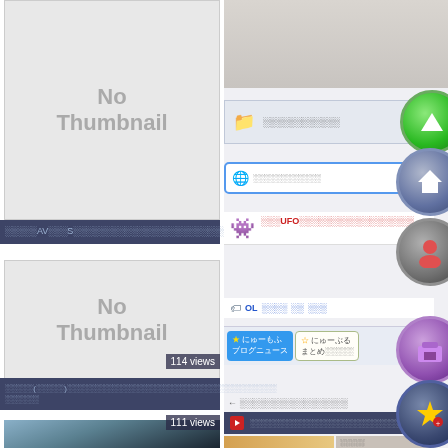[Figure (screenshot): Left column: 'No Thumbnail' placeholder, video title bar, second 'No Thumbnail' with 114 views, title bar, photo thumbnail with 111 views. Right column: Japanese website UI with folder bar, URL bar, UFO article section, tags bar, news buttons, video bar, and circular navigation icons.]